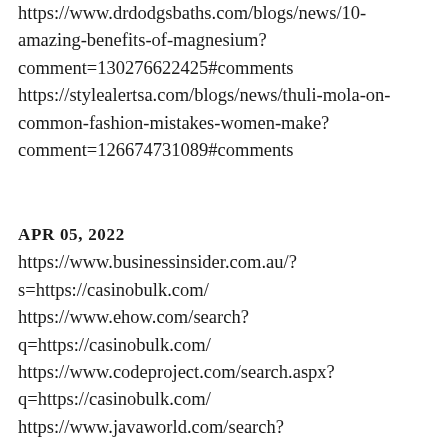https://www.drdodgsbaths.com/blogs/news/10-amazing-benefits-of-magnesium?comment=130276622425#comments https://stylealertsa.com/blogs/news/thuli-mola-on-common-fashion-mistakes-women-make?comment=126674731089#comments
APR 05, 2022 https://www.businessinsider.com.au/?s=https://casinobulk.com/ https://www.ehow.com/search?q=https://casinobulk.com/ https://www.codeproject.com/search.aspx?q=https://casinobulk.com/ https://www.javaworld.com/search?